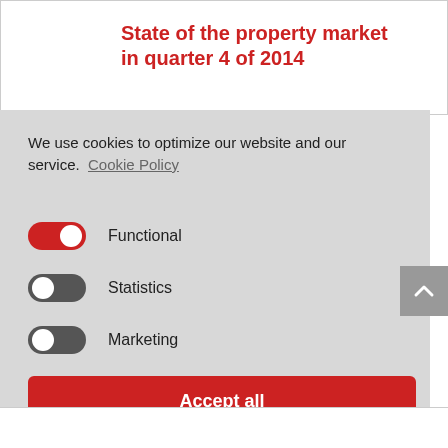State of the property market in quarter 4 of 2014
We use cookies to optimize our website and our service.  Cookie Policy
Functional
Statistics
Marketing
Accept all
Save preferences